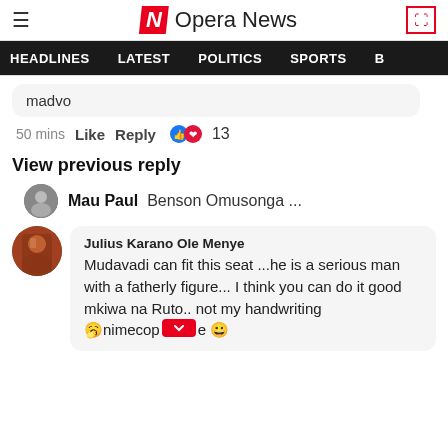Opera News — HEADLINES LATEST POLITICS SPORTS
madvo
50 mins  Like  Reply  13
View previous reply
Mau Paul  Benson Omusonga ...
Julius Karano Ole Menye
Mudavadi can fit this seat ...he is a serious man with a fatherly figure... I think you can do it good mkiwa na Ruto.. not my handwriting 🧣nimecopy [button] e 😀